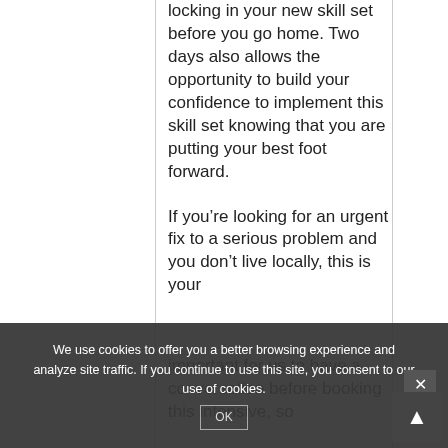locking in your new skill set before you go home. Two days also allows the opportunity to build your confidence to implement this skill set knowing that you are putting your best foot forward.
If you're looking for an urgent fix to a serious problem and you don't live locally, this is your important for us to have a conversation before booking this intensive, so
We use cookies to offer you a better browsing experience and analyze site traffic. If you continue to use this site, you consent to our use of cookies.